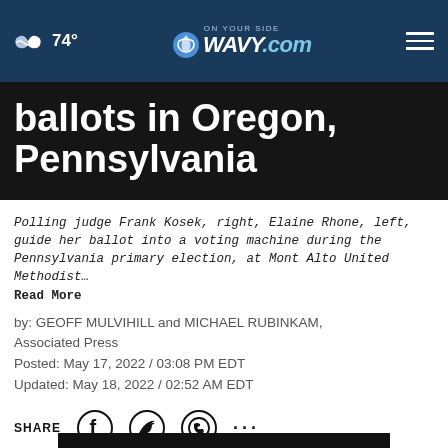74° — WAVY.com ON YOUR SIDE
ballots in Oregon, Pennsylvania
Polling judge Frank Kosek, right, Elaine Rhone, left, guide her ballot into a voting machine during the Pennsylvania primary election, at Mont Alto United Methodist… Read More
by: GEOFF MULVIHILL and MICHAEL RUBINKAM, Associated Press
Posted: May 17, 2022 / 03:08 PM EDT
Updated: May 18, 2022 / 02:52 AM EDT
SHARE
Printing ... in
[Figure (screenshot): Advertisement banner showing #Dadication with HHS, ACF, and Ad Council logos]